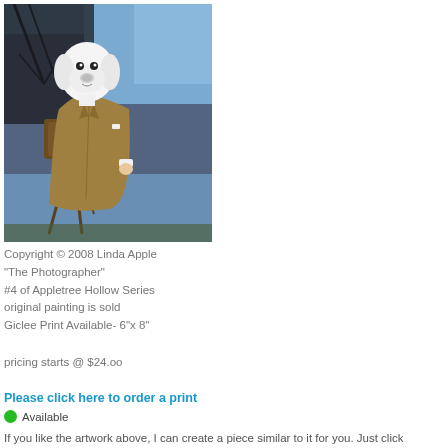[Figure (illustration): Painting of a dog (white Great Dane) with a human body dressed in a tan suit/overcoat, standing next to an old-fashioned camera on a tripod, outdoors with bare trees and blue sky background. Title: The Photographer, part of Appletree Hollow Series by Linda Apple, 2008.]
Copyright © 2008 Linda Apple
"The Photographer"
#4 of Appletree Hollow Series
original painting is sold
Giclee Print Available- 6"x 8"
pricing starts @ $24.oo
Please click here to order a print
Available
If you like the artwork above, I can create a piece similar to it for you. Just click